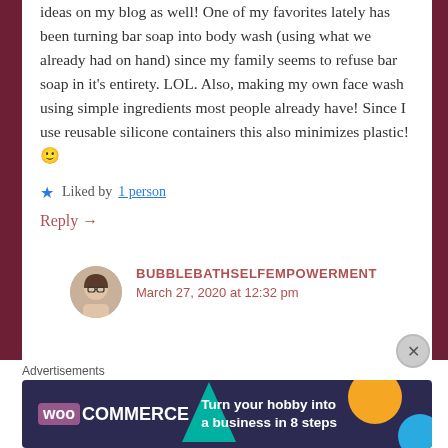ideas on my blog as well! One of my favorites lately has been turning bar soap into body wash (using what we already had on hand) since my family seems to refuse bar soap in it's entirety. LOL. Also, making my own face wash using simple ingredients most people already have! Since I use reusable silicone containers this also minimizes plastic! 🙂
★ Liked by 1 person
Reply →
BUBBLEBATHSELFEMPOWERMENT
March 27, 2020 at 12:32 pm
[Figure (photo): Avatar photo of commenter with glasses]
Advertisements
[Figure (infographic): WooCommerce advertisement banner: Turn your hobby into a business in 8 steps]